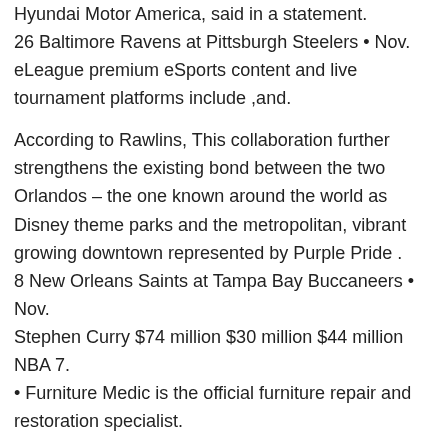Hyundai Motor America, said in a statement.
26 Baltimore Ravens at Pittsburgh Steelers • Nov. eLeague premium eSports content and live tournament platforms include ,and.
According to Rawlins, This collaboration further strengthens the existing bond between the two Orlandos – the one known around the world as Disney theme parks and the metropolitan, vibrant growing downtown represented by Purple Pride . 8 New Orleans Saints at Tampa Bay Buccaneers • Nov.
Stephen Curry $74 million $30 million $44 million NBA 7.
• Furniture Medic is the official furniture repair and restoration specialist.
• AP: Short-video app Quibi said it is shutting down just six months after its early April launch, having